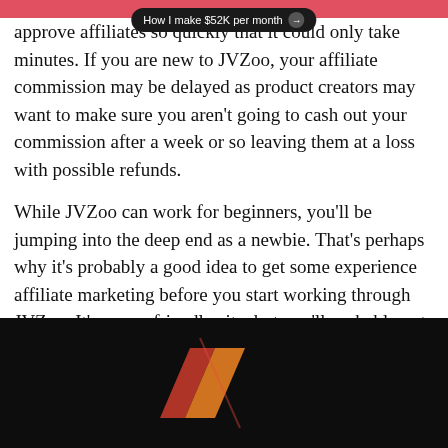approve affiliates so quickly that it could only take minutes. If you are new to JVZoo, your affiliate commission may be delayed as product creators may want to make sure you aren't going to cash out your commission after a week or so leaving them at a loss with possible refunds.
While JVZoo can work for beginners, you'll be jumping into the deep end as a newbie. That's perhaps why it's probably a good idea to get some experience affiliate marketing before you start working through JVZoo. It's a user-friendly site, but you'll probably get the most out of it if you've already established yourself as an affiliate marketer elsewhere.
JVzoo even has its very own educational program, the JVZoo Academy.
[Figure (photo): Dark background image showing partial JVZoo logo with orange and red slash graphic elements on black background]